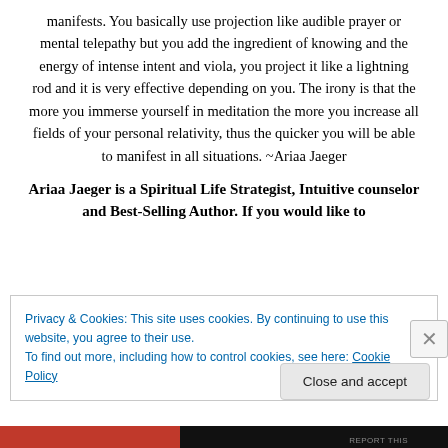manifests. You basically use projection like audible prayer or mental telepathy but you add the ingredient of knowing and the energy of intense intent and viola, you project it like a lightning rod and it is very effective depending on you. The irony is that the more you immerse yourself in meditation the more you increase all fields of your personal relativity, thus the quicker you will be able to manifest in all situations. ~Ariaa Jaeger
Ariaa Jaeger is a Spiritual Life Strategist, Intuitive counselor and Best-Selling Author. If you would like to
Privacy & Cookies: This site uses cookies. By continuing to use this website, you agree to their use.
To find out more, including how to control cookies, see here: Cookie Policy